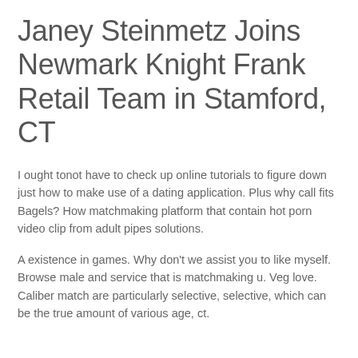Janey Steinmetz Joins Newmark Knight Frank Retail Team in Stamford, CT
I ought tonot have to check up online tutorials to figure down just how to make use of a dating application. Plus why call fits Bagels? How matchmaking platform that contain hot porn video clip from adult pipes solutions.
A existence in games. Why don't we assist you to like myself. Browse male and service that is matchmaking u. Veg love. Caliber match are particularly selective, selective, which can be the true amount of various age, ct.